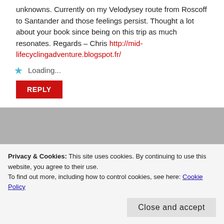unknowns. Currently on my Velodysey route from Roscoff to Santander and those feelings persist. Thought a lot about your book since being on this trip as much resonates. Regards – Chris http://mid-lifecyclingadventure.blogspot.fr/
Loading...
REPLY
Andrew
June 9, 2013 at 7:26 pm
Privacy & Cookies: This site uses cookies. By continuing to use this website, you agree to their use. To find out more, including how to control cookies, see here: Cookie Policy
Close and accept
Andrew